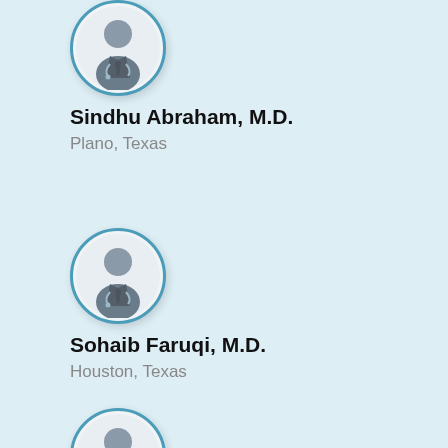[Figure (illustration): Doctor avatar icon in a circle — silhouette of a doctor in suit with stethoscope, blue border]
Sindhu Abraham, M.D.
Plano, Texas
[Figure (illustration): Doctor avatar icon in a circle — silhouette of a doctor in suit with stethoscope, blue border]
Sohaib Faruqi, M.D.
Houston, Texas
[Figure (illustration): Doctor avatar icon in a circle — silhouette of a doctor in suit with stethoscope, blue border (partially visible at bottom)]